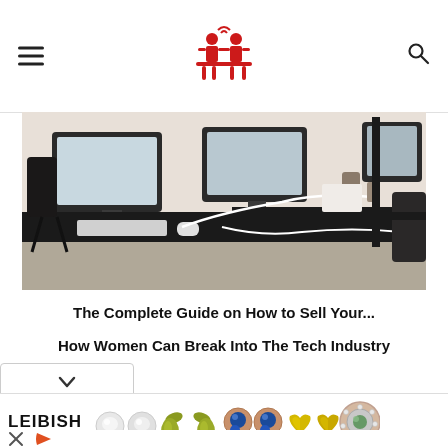Navigation header with hamburger menu, site logo, and search icon
[Figure (photo): Office workspace with black desks, iMac computers, keyboards, and cables in a bright open-plan office]
The Complete Guide on How to Sell Your...
How Women Can Break Into The Tech Industry
[Figure (other): Dropdown chevron/arrow button]
[Figure (other): Leibish jewelry advertisement banner showing various gemstone earrings and a diamond halo ring]